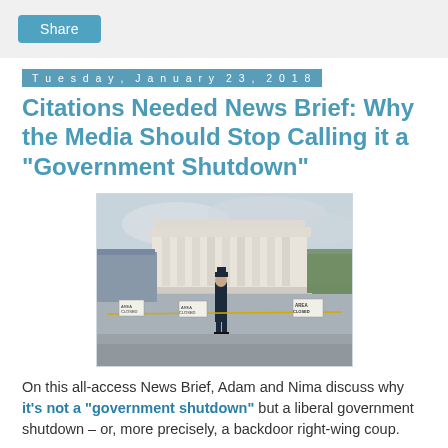Share
Tuesday, January 23, 2018
Citations Needed News Brief: Why the Media Should Stop Calling it a "Government Shutdown"
[Figure (photo): A uniformed officer stands in front of the Lincoln Memorial with 'Area Closed' signs and barriers visible in the foreground.]
On this all-access News Brief, Adam and Nima discuss why it's not a "government shutdown" but a liberal government shutdown – or, more precisely, a backdoor right-wing coup.